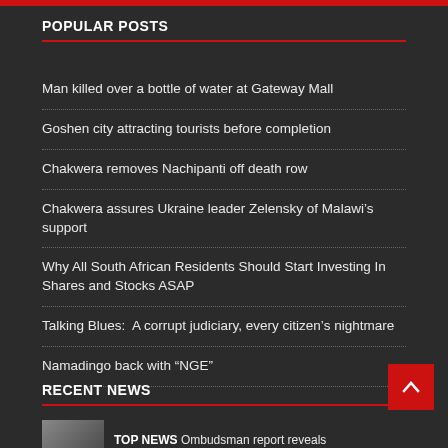POPULAR POSTS
Man killed over a bottle of water at Gateway Mall
Goshen city attracting tourists before completion
Chakwera removes Nachipanti off death row
Chakwera assures Ukraine leader Zelensky of Malawi’s support
Why All South African Residents Should Start Investing In Shares and Stocks ASAP
Talking Blues:  A corrupt judiciary, every citizen’s nightmare
Namadingo back with “NGE”
RECENT NEWS
TOP NEWS Ombudsman report reveals